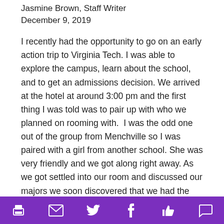Jasmine Brown, Staff Writer
December 9, 2019
I recently had the opportunity to go on an early action trip to Virginia Tech. I was able to explore the campus, learn about the school, and to get an admissions decision. We arrived at the hotel at around 3:00 pm and the first thing I was told was to pair up with who we planned on rooming with.  I was the odd one out of the group from Menchville so I was paired with a girl from another school. She was very friendly and we got along right away. As we got settled into our room and discussed our majors we soon discovered that we had the same interests and we wanted to go into similar fields of study. We exchanged contact information to keep in touch during and after the trip. After we got acquainted we headed back downstairs to load onto
Social share bar with print, email, Twitter, Facebook, like, and comment icons